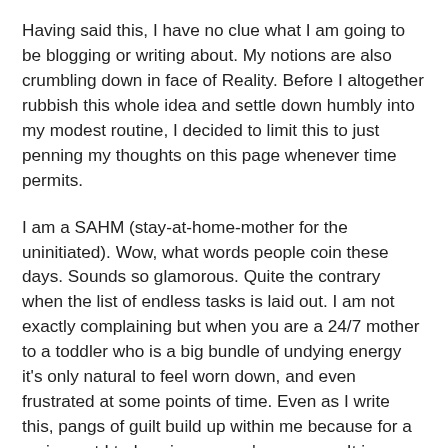Having said this, I have no clue what I am going to be blogging or writing about. My notions are also crumbling down in face of Reality. Before I altogether rubbish this whole idea and settle down humbly into my modest routine, I decided to limit this to just penning my thoughts on this page whenever time permits.
I am a SAHM (stay-at-home-mother for the uninitiated). Wow, what words people coin these days. Sounds so glamorous. Quite the contrary when the list of endless tasks is laid out. I am not exactly complaining but when you are a 24/7 mother to a toddler who is a big bundle of undying energy it's only natural to feel worn down, and even frustrated at some points of time. Even as I write this, pangs of guilt build up within me because for a major part I truly enjoy my son's company. It is a pleasure to be with him and see him grow. I had always wanted to care for my child personally and not leave him or her in a day-care or with a nanny. What is the point in bearing a child with so much trouble and not reap the fruits of seeing the child grow-up! Of course these are my thoughts and a whole lot of working mothers may resent me for saying this. I don't blame them